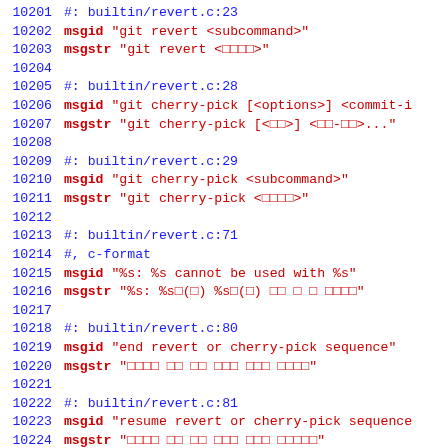Source code / localization file excerpt showing gettext PO file entries for git revert and cherry-pick commands, lines 10201-10230
10201  #: builtin/revert.c:23
10202  msgid "git revert <subcommand>"
10203  msgstr "git revert <서브명령>"
10204
10205  #: builtin/revert.c:28
10206  msgid "git cherry-pick [<options>] <commit-i
10207  msgstr "git cherry-pick [<옵션>] <커밋-아이>..."
10208
10209  #: builtin/revert.c:29
10210  msgid "git cherry-pick <subcommand>"
10211  msgstr "git cherry-pick <서브명령>"
10212
10213  #: builtin/revert.c:71
10214  #, c-format
10215  msgid "%s: %s cannot be used with %s"
10216  msgstr "%s: %s(을) %s(와) 함께 쓸 수 없습니다"
10217
10218  #: builtin/revert.c:80
10219  msgid "end revert or cherry-pick sequence"
10220  msgstr "되돌리 기나 체리픽 순서 끝내기"
10221
10222  #: builtin/revert.c:81
10223  msgid "resume revert or cherry-pick sequence
10224  msgstr "되돌리 기나 체리픽 순서 재개하기"
10225
10226  #: builtin/revert.c:82
10227  msgid "cancel revert or cherry-pick sequence
10228  msgstr "되돌리 기나 체리픽 순서 취소하기"
10229
10230  #: builtin/revert.c:83